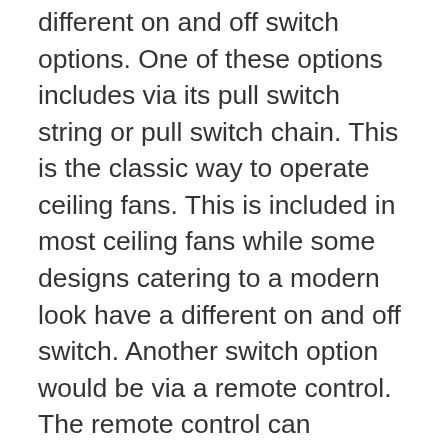different on and off switch options. One of these options includes via its pull switch string or pull switch chain. This is the classic way to operate ceiling fans. This is included in most ceiling fans while some designs catering to a modern look have a different on and off switch. Another switch option would be via a remote control. The remote control can manage the on and off functionality of the ceiling fan as well as the light fixture, if one is included in the set up. Additionally, the switch can also dim or brighten up the illumination of the light fixture effortlessly. Then, there are also other ceiling fans which can be turned on and off via wall switches.